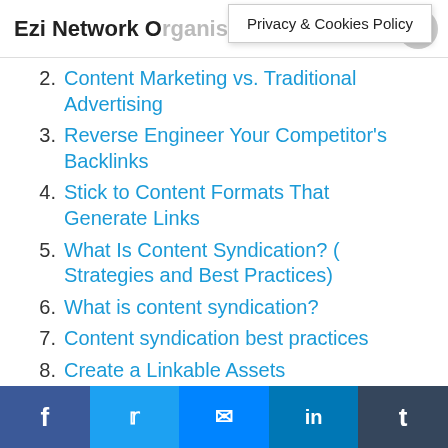Ezi Network Organisation
Privacy & Cookies Policy
2. Content Marketing vs. Traditional Advertising
3. Reverse Engineer Your Competitor's Backlinks
4. Stick to Content Formats That Generate Links
5. What Is Content Syndication? ( Strategies and Best Practices)
6. What is content syndication?
7. Content syndication best practices
8. Create a Linkable Assets
9. A Content Marketing Strategy
10. Search Engine Optimization (SEO)
11. More content you might like:
f  t  messenger  in  t